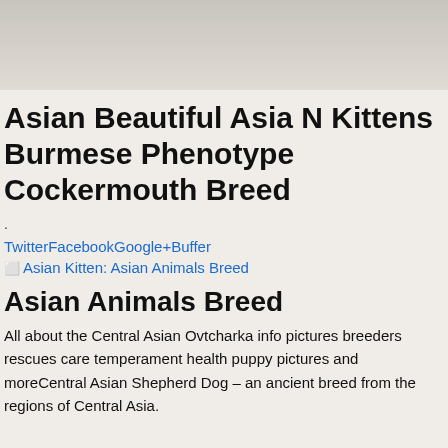[Figure (photo): Partial photo of a cat or kitten, cropped at top of page, showing fur against light background]
Asian Beautiful Asia N Kittens Burmese Phenotype Cockermouth Breed
.
TwitterFacebookGoogle+Buffer
[Figure (other): Asian Kitten: Asian Animals Breed (broken image link)]
Asian Animals Breed
All about the Central Asian Ovtcharka info pictures breeders rescues care temperament health puppy pictures and moreCentral Asian Shepherd Dog – an ancient breed from the regions of Central Asia.